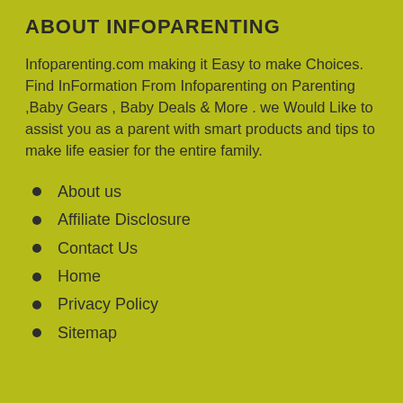ABOUT INFOPARENTING
Infoparenting.com making it Easy to make Choices. Find InFormation From Infoparenting on Parenting ,Baby Gears , Baby Deals & More . we Would Like to assist you as a parent with smart products and tips to make life easier for the entire family.
About us
Affiliate Disclosure
Contact Us
Home
Privacy Policy
Sitemap